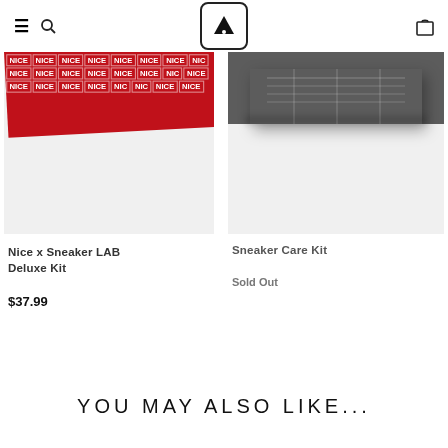Sneaker LAB store header with navigation (hamburger, search, logo, cart)
[Figure (photo): Product image: Nice x Sneaker LAB Deluxe Kit — red wrap with repeating NICE text pattern on white background]
Nice x Sneaker LAB Deluxe Kit
$37.99
[Figure (photo): Product image: Sneaker Care Kit — dark grey box/kit on white background]
Sneaker Care Kit
Sold Out
YOU MAY ALSO LIKE...